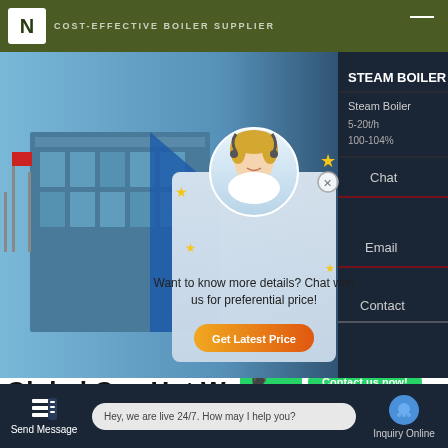COST-EFFECTIVE BOILER SUPPLIER
[Figure (screenshot): Website screenshot showing a boiler supplier page with a chat popup overlay. The popup has a female customer service avatar, stars decoration, text 'Want to know more details? Chat with us for preferential price!', and a 'Get Latest Price' orange button. Right sidebar shows Steam Boiler specs and Chat/Email/Contact options. Bottom shows WhatsApp contact buttons and 'Global Gas Hot Wa...' heading. Bottom bar has Send Message, live chat bubble 'Hey, we are live 24/7. How may I help you?', and Inquiry Online.]